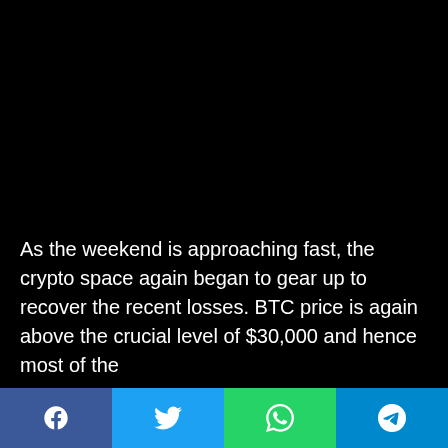• 8 June 2022
[Figure (photo): Large black image/video area occupying most of the page]
As the weekend is approaching fast, the crypto space again began to gear up to recover the recent losses. BTC price is again above the crucial level of $30,000 and hence most of the
[Figure (infographic): Social share buttons bar: Facebook (blue), Twitter (light blue), WhatsApp (green), Telegram (blue)]